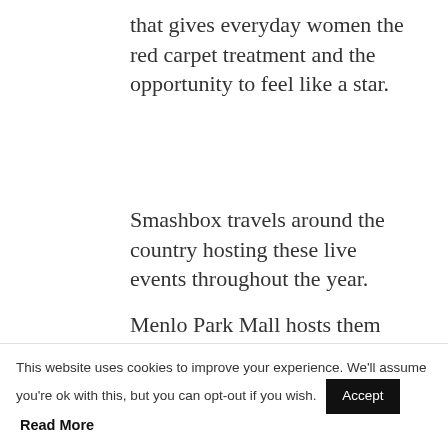that gives everyday women the red carpet treatment and the opportunity to feel like a star.
Smashbox travels around the country hosting these live events throughout the year.
Menlo Park Mall hosts them with Sephora once or twice a year– and I highly recommend checking them out!
[Figure (photo): Photo of a makeup/beauty event setup showing products on a table with mirrors and green plants in the background, with a dark horizontal bar across the middle.]
This website uses cookies to improve your experience. We'll assume you're ok with this, but you can opt-out if you wish.  Accept  Read More